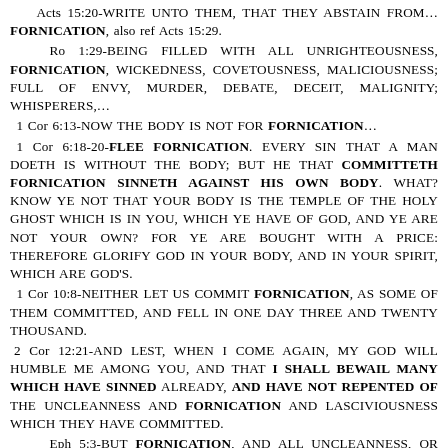Acts 15:20-WRITE UNTO THEM, THAT THEY ABSTAIN FROM… FORNICATION, also ref Acts 15:29.
Ro 1:29-BEING FILLED WITH ALL UNRIGHTEOUSNESS, FORNICATION, WICKEDNESS, COVETOUSNESS, MALICIOUSNESS; FULL OF ENVY, MURDER, DEBATE, DECEIT, MALIGNITY; WHISPERERS,…
1 Cor 6:13-NOW THE BODY IS NOT FOR FORNICATION…
1 Cor 6:18-20-FLEE FORNICATION. EVERY SIN THAT A MAN DOETH IS WITHOUT THE BODY; BUT HE THAT COMMITTETH FORNICATION SINNETH AGAINST HIS OWN BODY. WHAT? KNOW YE NOT THAT YOUR BODY IS THE TEMPLE OF THE HOLY GHOST WHICH IS IN YOU, WHICH YE HAVE OF GOD, AND YE ARE NOT YOUR OWN? FOR YE ARE BOUGHT WITH A PRICE: THEREFORE GLORIFY GOD IN YOUR BODY, AND IN YOUR SPIRIT, WHICH ARE GOD'S.
1 Cor 10:8-NEITHER LET US COMMIT FORNICATION, AS SOME OF THEM COMMITTED, AND FELL IN ONE DAY THREE AND TWENTY THOUSAND.
2 Cor 12:21-AND LEST, WHEN I COME AGAIN, MY GOD WILL HUMBLE ME AMONG YOU, AND THAT I SHALL BEWAIL MANY WHICH HAVE SINNED ALREADY, AND HAVE NOT REPENTED OF THE UNCLEANNESS AND FORNICATION AND LASCIVIOUSNESS WHICH THEY HAVE COMMITTED.
Eph 5:3-BUT FORNICATION, AND ALL UNCLEANNESS, OR COVETOUSNESS, LET IT NOT BE ONCE NAMED AMONG YOU, AS BECOMETH SAINTS;
1 Thes 4:3,4-FOR THIS IS THE WILL OF GOD, EVEN YOUR SANCTIFICATION, THAT YE SHOULD ABSTAIN FROM FORNICATION: THAT EVERY ONE OF YOU SHOULD KNOW HOW TO POSSESS HIS